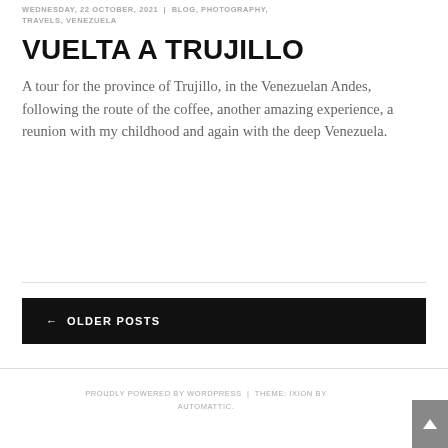WEDNESDAY, 22 OCTOBER, 2021 | BLOG, PHOTOGRAPHY, TRAVELS, VENEZUELA
VUELTA A TRUJILLO
A tour for the province of Trujillo, in the Venezuelan Andes, following the route of the coffee, another amazing experience, a reunion with my childhood and again with the deep Venezuela.
← OLDER POSTS
PROUDLY POWERED BY WORDPRESS | THEME: IXION BY AUTOMATTIC.